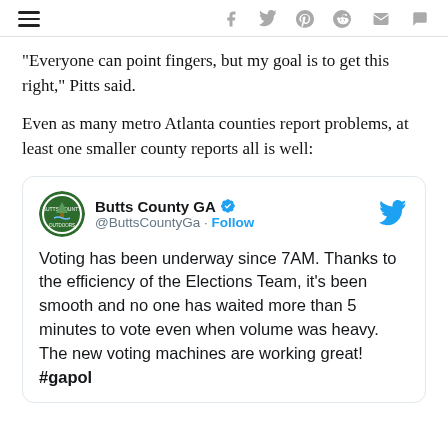Navigation and social sharing icons
“Everyone can point fingers, but my goal is to get this right,” Pitts said.
Even as many metro Atlanta counties report problems, at least one smaller county reports all is well:
[Figure (screenshot): Embedded tweet from @ButtsCountyGa (Butts County GA, verified account) with Follow button and Twitter bird logo. Tweet text: Voting has been underway since 7AM. Thanks to the efficiency of the Elections Team, it's been smooth and no one has waited more than 5 minutes to vote even when volume was heavy. The new voting machines are working great! #gapol]